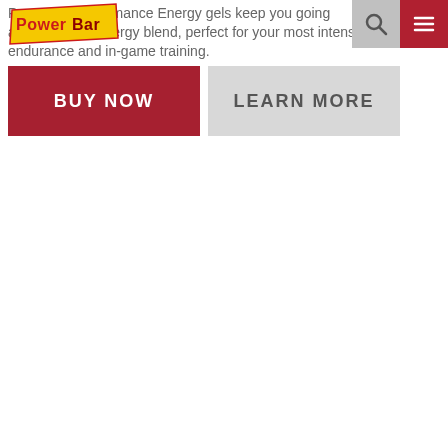[Figure (logo): PowerBar logo — red and yellow with 'PowerBar' text]
PowerBar Performance Energy gels keep you going a dual-source energy blend, perfect for your most intense endurance and in-game training.
BUY NOW
LEARN MORE